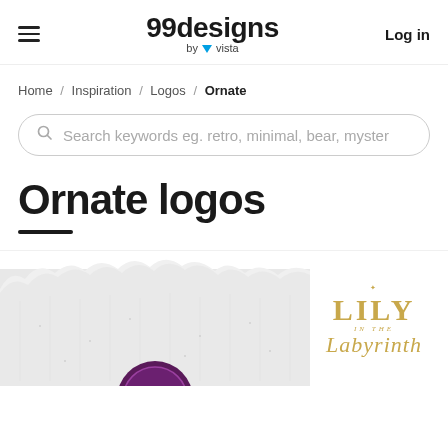99designs by vista  |  Log in
Home / Inspiration / Logos / Ornate
Search keywords eg. retro, minimal, bear, myster
Ornate logos
[Figure (logo): Preview of ornate logo designs: a textured fabric/paper styled logo and a gold 'Lily in the Labyrinth' ornate script logo on white background]